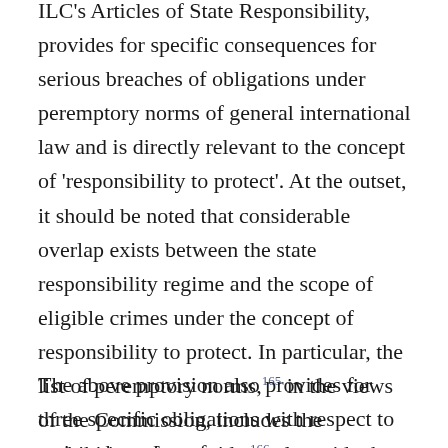ILC's Articles of State Responsibility, provides for specific consequences for serious breaches of obligations under peremptory norms of general international law and is directly relevant to the concept of 'responsibility to protect'. At the outset, it should be noted that considerable overlap exists between the state responsibility regime and the scope of eligible crimes under the concept of responsibility to protect. In particular, the list of peremptory norms,165 in the views of the Commission, includes the prohibition of genocide,166 alongside the possibility for inclusion in respect of crimes against humanity167 and war crimes.168
The above provision also provides for three specific obligations with respect to serious breaches of...